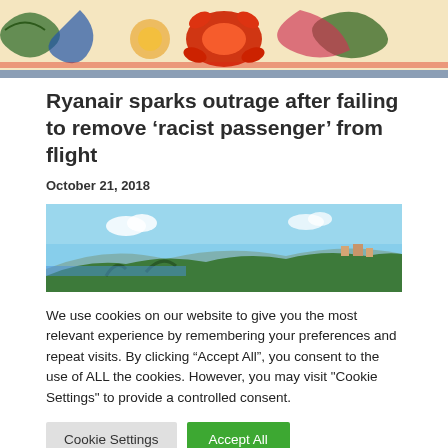[Figure (photo): Close-up of a colorful decorative ceramic plate with floral and swirl patterns in red, green, blue, and orange on white background.]
Ryanair sparks outrage after failing to remove ‘racist passenger’ from flight
October 21, 2018
[Figure (photo): Landscape photo showing a hillside with green trees, buildings on the hilltop, a bay with blue water and distant mountains under a partly cloudy sky.]
We use cookies on our website to give you the most relevant experience by remembering your preferences and repeat visits. By clicking “Accept All”, you consent to the use of ALL the cookies. However, you may visit "Cookie Settings" to provide a controlled consent.